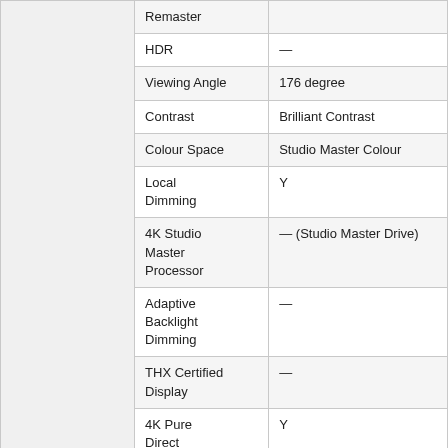|  | Remaster |  |
|  | HDR | — |
|  | Viewing Angle | 176 degree |
|  | Contrast | Brilliant Contrast |
|  | Colour Space | Studio Master Colour |
|  | Local Dimming | Y |
|  | 4K Studio Master Processor | — (Studio Master Drive) |
|  | Adaptive Backlight Dimming | — |
|  | THX Certified Display | — |
|  | 4K Pure Direct | Y |
|  | isf Mode | — |
|  | 3D | — |
| Sound Quality | Surround Mode | VR-Audio True Surround |